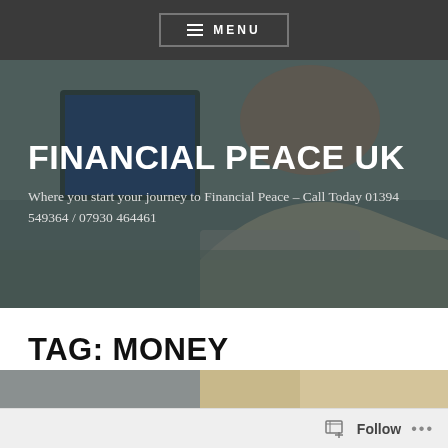≡ MENU
[Figure (photo): Website header hero image showing a woman sitting at a desktop computer, viewed from behind, with a dark overlay. Contains the site title and tagline.]
FINANCIAL PEACE UK
Where you start your journey to Financial Peace – Call Today 01394 549364 / 07930 464461
TAG: MONEY
[Figure (photo): Partial thumbnail image at the bottom of the page, showing a cropped photo strip.]
Follow